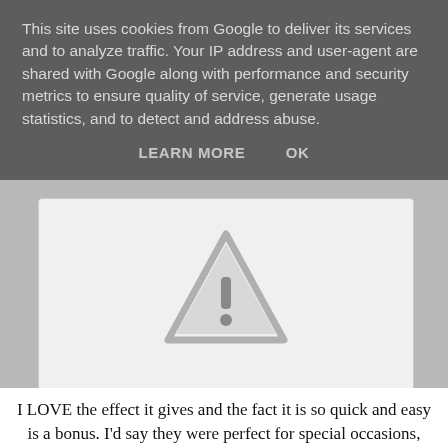This site uses cookies from Google to deliver its services and to analyze traffic. Your IP address and user-agent are shared with Google along with performance and security metrics to ensure quality of service, generate usage statistics, and to detect and address abuse.
LEARN MORE    OK
[Figure (illustration): Warning triangle icon with exclamation mark, gray colored, inside a white rounded rectangle box]
I LOVE the effect it gives and the fact it is so quick and easy is a bonus. I'd say they were perfect for special occasions, however, they have started peeling around the edges after only 2 days even though i sealed them with a top coat, but they still look good from afar so are staying for now :)